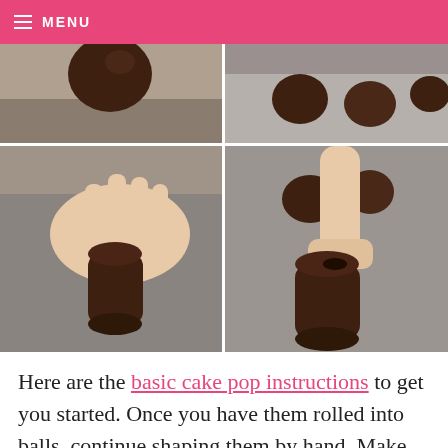MENU
[Figure (photo): Four-panel grid of photos showing hands shaping chocolate cake pops into cylinder shapes on a baking sheet. Top-left: a chocolate ball being dropped. Top-right: chocolate balls on a grey baking sheet. Bottom-left: hand forming a cylinder from a chocolate ball. Bottom-right: finger pressing an indentation into a chocolate cylinder.]
Here are the basic cake pop instructions to get you started. Once you have them rolled into balls, continue shaping them by hand. Make an indentation on one end and then roll, rotate and slide the ball on wax paper to form a cylinder like